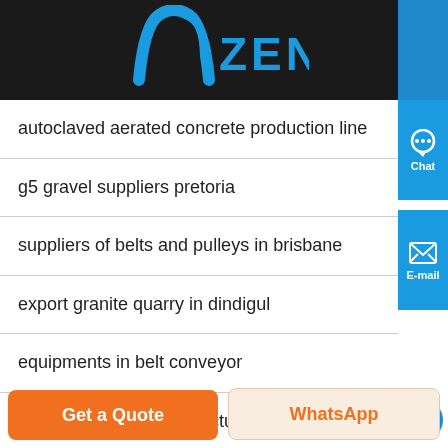[Figure (logo): Zenit company logo with blue arch/arrow icon and ZENIT text in blue on dark background header]
autoclaved aerated concrete production line
g5 gravel suppliers pretoria
suppliers of belts and pulleys in brisbane
export granite quarry in dindigul
equipments in belt conveyor
cement process manufacturing
Chat
E-mail
Get a Quote
WhatsApp